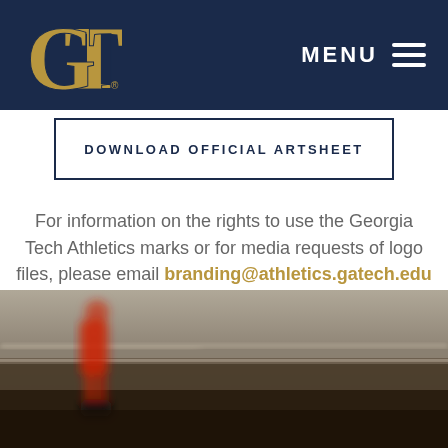Georgia Tech Athletics - MENU navigation header
DOWNLOAD OFFICIAL ARTSHEET
For information on the rights to use the Georgia Tech Athletics marks or for media requests of logo files, please email branding@athletics.gatech.edu
[Figure (photo): Blurred motion photo of a Georgia Tech athlete in red uniform near a track or rail, taken from a low angle with depth of field blur effect.]